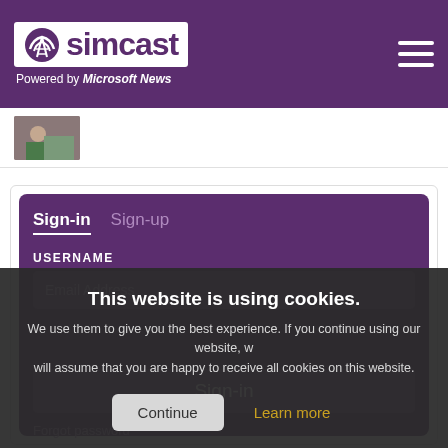simcast — Powered by Microsoft News
[Figure (screenshot): Thumbnail image of a person on a street]
Sign-in | Sign-up
USERNAME
Email Address
[Figure (screenshot): Cookie consent overlay: This website is using cookies. We use them to give you the best experience. If you continue using our website, we will assume that you are happy to receive all cookies on this website. Buttons: Continue, Learn more]
Sign-in
Forgot password